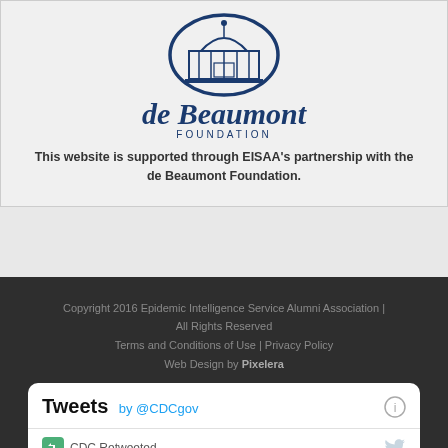[Figure (logo): de Beaumont Foundation logo with building icon and text]
This website is supported through EISAA's partnership with the de Beaumont Foundation.
Copyright 2016 Epidemic Intelligence Service Alumni Association | All Rights Reserved
Terms and Conditions of Use | Privacy Policy
Web Design by Pixelera
[Figure (screenshot): Twitter widget showing Tweets by @CDCgov with CDC Retweeted notice and CDC TB account]